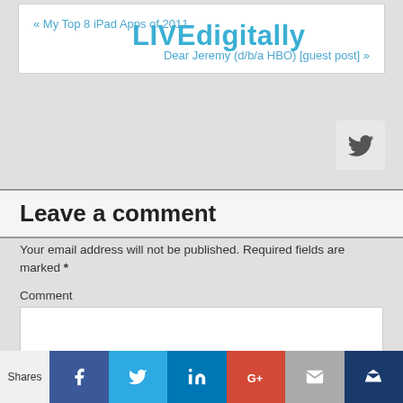« My Top 8 iPad Apps of 2011
LIVEdigitally
Dear Jeremy (d/b/a HBO) [guest post] »
Leave a comment
Your email address will not be published. Required fields are marked *
Comment